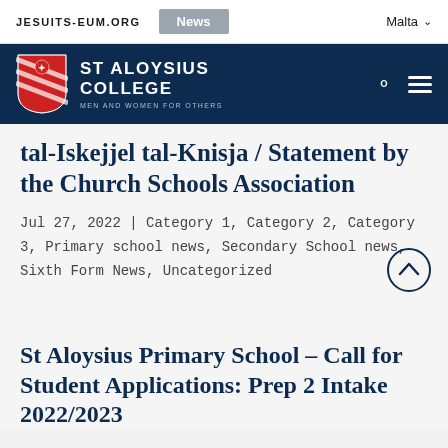JESUITS-EUM.ORG | News | Malta
[Figure (logo): St Aloysius College shield logo and college name with motto 'Men and Women for Others' on dark navy background]
tal-Iskejjel tal-Knisja / Statement by the Church Schools Association
Jul 27, 2022 | Category 1, Category 2, Category 3, Primary school news, Secondary School news, Sixth Form News, Uncategorized
St Aloysius Primary School – Call for Student Applications: Prep 2 Intake 2022/2023